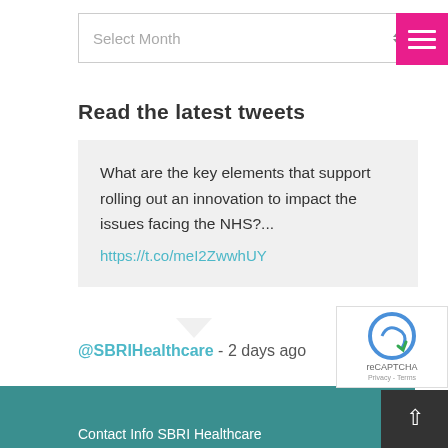[Figure (other): Select Month dropdown selector with up/down arrows]
[Figure (other): Pink hamburger menu button with three white horizontal lines]
Read the latest tweets
What are the key elements that support rolling out an innovation to impact the issues facing the NHS?... https://t.co/meI2ZwwhUY
@SBRIHealthcare - 2 days ago
Contact Info SBRI Healthcare